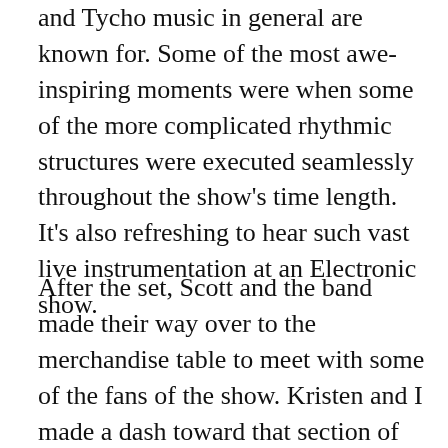and Tycho music in general are known for. Some of the most awe-inspiring moments were when some of the more complicated rhythmic structures were executed seamlessly throughout the show's time length. It's also refreshing to hear such vast live instrumentation at an Electronic show.
After the set, Scott and the band made their way over to the merchandise table to meet with some of the fans of the show. Kristen and I made a dash toward that section of the venue and waited for a very small bit of time before being able to shake his hand, get an autograph and a picture.
[Figure (photo): Dark photograph, mostly black with faint shapes visible, appears to be taken at a dimly lit venue.]